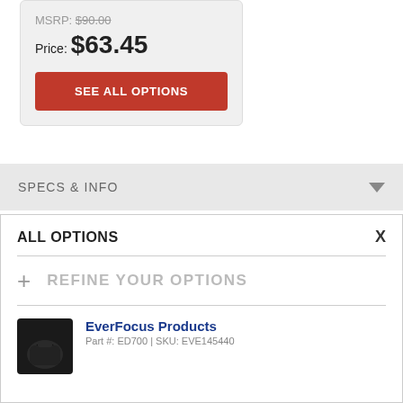MSRP: $90.00
Price: $63.45
SEE ALL OPTIONS
SPECS & INFO
ALL OPTIONS
+ REFINE YOUR OPTIONS
EverFocus Products
Part #: ED700 | SKU: EVE145440